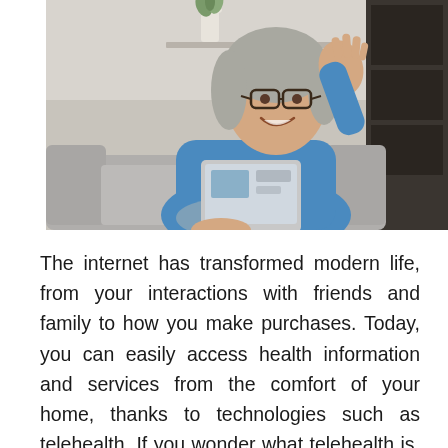[Figure (photo): A smiling older woman with grey hair and glasses, wearing a blue blouse, sitting on a couch, holding a tablet and waving at the screen as if on a video call.]
The internet has transformed modern life, from your interactions with friends and family to how you make purchases. Today, you can easily access health information and services from the comfort of your home, thanks to technologies such as telehealth. If you wonder what telehealth is, the following simple description will help arm you with